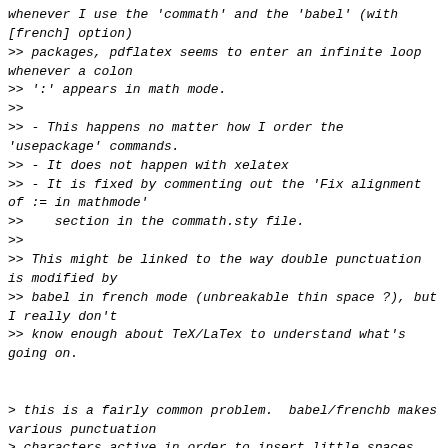whenever I use the 'commath' and the 'babel' (with [french] option)
>> packages, pdflatex seems to enter an infinite loop whenever a colon
>> ':' appears in math mode.
>>
>> - This happens no matter how I order the 'usepackage' commands.
>> - It does not happen with xelatex
>> - It is fixed by commenting out the 'Fix alignment of := in mathmode'
>>    section in the commath.sty file.
>>
>> This might be linked to the way double punctuation is modified by
>> babel in french mode (unbreakable thin space ?), but I really don't
>> know enough about TeX/LaTex to understand what's going on.


> this is a fairly common problem.  babel/frenchb makes various punctuation
> characters active in order to insert little spaces between text and
> punctuation.
>
> so commath or babel is redefining the other's definition of "active :"
> (according to which way round you load them).
looking at the babel